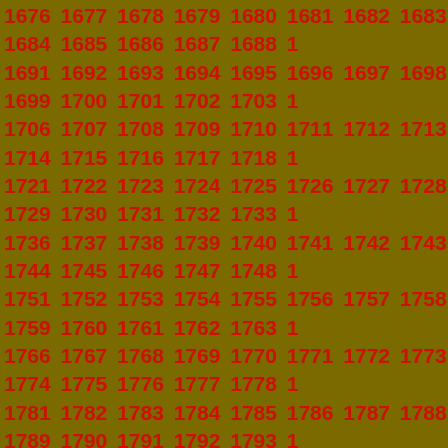1676 1677 1678 1679 1680 1681 1682 1683 1684 1685 1686 1687 1688 1689 1690 1691 1692 1693 1694 1695 1696 1697 1698 1699 1700 1701 1702 1703 1704 1705 1706 1707 1708 1709 1710 1711 1712 1713 1714 1715 1716 1717 1718 1719 1720 1721 1722 1723 1724 1725 1726 1727 1728 1729 1730 1731 1732 1733 1734 1735 1736 1737 1738 1739 1740 1741 1742 1743 1744 1745 1746 1747 1748 1749 1750 1751 1752 1753 1754 1755 1756 1757 1758 1759 1760 1761 1762 1763 1764 1765 1766 1767 1768 1769 1770 1771 1772 1773 1774 1775 1776 1777 1778 1779 1780 1781 1782 1783 1784 1785 1786 1787 1788 1789 1790 1791 1792 1793 1794 1795 1796 1797 1798 1799 1800 1801 1802 1803 1804 1805 1806 1807 1808 1809 1810 1811 1812 1813 1814 1815 1816 1817 1818 1819 1820 1821 1822 1823 1824 1825 1826 1827 1828 1829 1830 1831 1832 1833 1834 1835 1836 1837 1838 1839 1840 1841 1842 1843 1844 1845 1846 1847 1848 1849 1850 1851 1852 1853 1854 1855 1856 1857 1858 1859 1860 1861 1862 1863 1864 1865 1866 1867 1868 1869 1870 1871 1872 1873 1874 1875 1876 1877 1878 1879 1880 1881 1882 1883 1884 1885 1886 1887 1888 1889 1890 1891 1892 1893 1894 1895 1896 1897 1898 1899 1900 1901 1902 1903 1904 1905 1906 1907 1908 1909 1910 1911 1912 1913 1914 1915 1916 1917 1918 1919 1920 1921 1922 1923 1924 1925 1926 1927 1928 1929 1930 1931 1932 1933 1934 1935 1936 1937 1938 1939 1940 1941 1942 1943 1944 1945 1946 1947 1948 1949 1950 1951 1952 1953 1954 1955 1956 1957 1958 1959 1960 1961 1962 1963 1964 1965 1966 1967 1968 1969 1970 1971 1972 1973 1974 1975 1976 1977 1978 1979 1980 1981 1982 1983 1984 1985 1986 1987 1988 1989 1990 1991 1992 1993 1994 1995 1996 1997 1998 1999 2000 2001 2002 2003 2004 2005 2006 2007 2008 2009 2010 2011 2012 2013 2014 2015 2016 2017 2018...